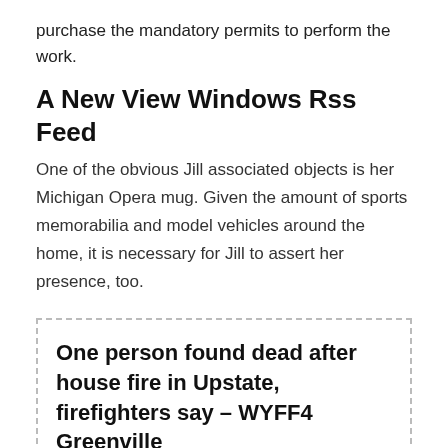purchase the mandatory permits to perform the work.
A New View Windows Rss Feed
One of the obvious Jill associated objects is her Michigan Opera mug. Given the amount of sports memorabilia and model vehicles around the home, it is necessary for Jill to assert her presence, too.
One person found dead after house fire in Upstate, firefighters say – WYFF4 Greenville
One person found dead after house fire in Upstate, firefighters say.
Posted: Wed, 05 May 2021 13:00:00 GMT [source]